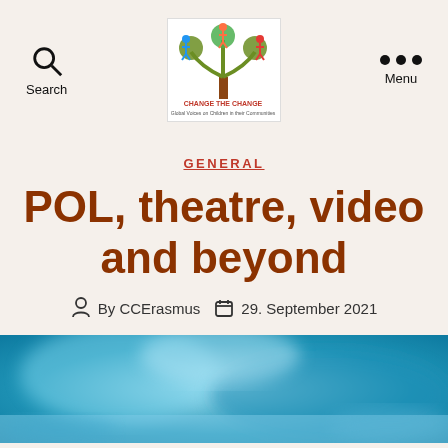Search | Change the Change logo | Menu
GENERAL
POL, theatre, video and beyond
By CCErasmus  29. September 2021
[Figure (photo): Blurred blue background photo, appears to show a reflective or water surface with light bokeh effects.]